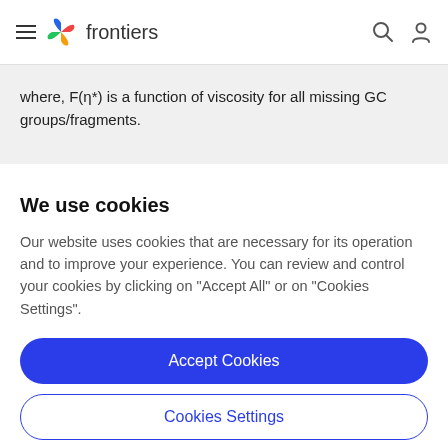frontiers
where, F(η*) is a function of viscosity for all missing GC groups/fragments.
We use cookies
Our website uses cookies that are necessary for its operation and to improve your experience. You can review and control your cookies by clicking on "Accept All" or on "Cookies Settings".
Accept Cookies
Cookies Settings